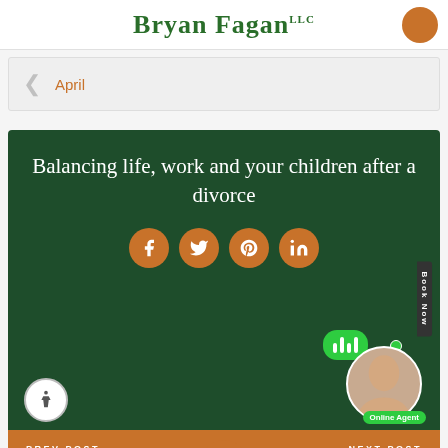Bryan Fagan
April
Balancing life, work and your children after a divorce
[Figure (screenshot): Social media share buttons: Facebook, Twitter, Pinterest, LinkedIn as orange circles with white icons]
PREV POST
NEXT POST